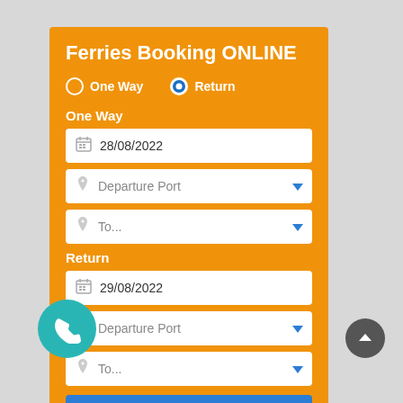Ferries Booking ONLINE
One Way   Return
One Way
28/08/2022
Departure Port
To...
Return
29/08/2022
Departure Port
To...
Search & Timetables
Ferries-Booking.com